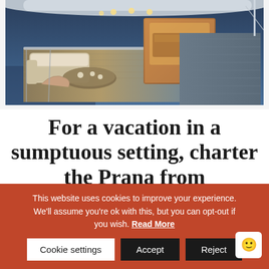[Figure (photo): Wide-angle photo of a luxury yacht deck at dusk, showing outdoor lounge seating, dining table set for guests, warm interior lighting from cabin area, with ocean and soft blue sky in background.]
For a vacation in a sumptuous setting, charter the Prana from
This website uses cookies to improve your experience. We'll assume you're ok with this, but you can opt-out if you wish. Read More
Cookie settings  Accept  Reject